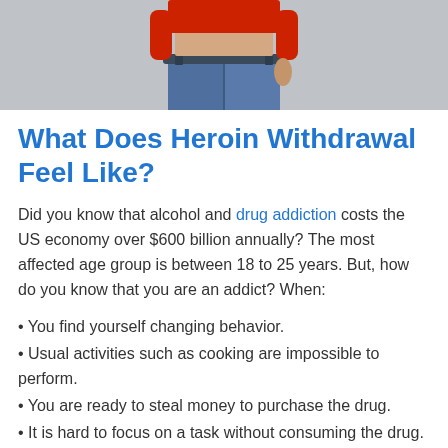[Figure (photo): Partial torso of a person wearing a red crop top and blue jeans, photographed against a gray background]
What Does Heroin Withdrawal Feel Like?
Did you know that alcohol and drug addiction costs the US economy over $600 billion annually? The most affected age group is between 18 to 25 years. But, how do you know that you are an addict? When:
You find yourself changing behavior.
Usual activities such as cooking are impossible to perform.
You are ready to steal money to purchase the drug.
It is hard to focus on a task without consuming the drug.
You get yourself thinking about the drug often.